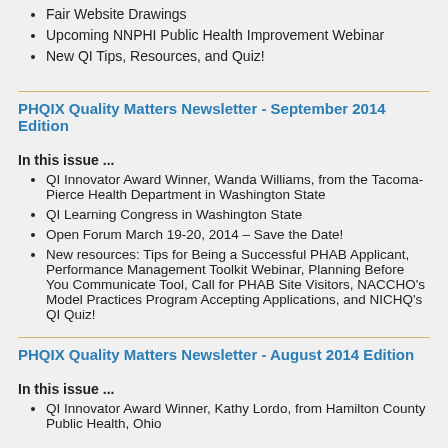Fair Website Drawings
Upcoming NNPHI Public Health Improvement Webinar
New QI Tips, Resources, and Quiz!
PHQIX Quality Matters Newsletter - September 2014 Edition
In this issue ...
QI Innovator Award Winner, Wanda Williams, from the Tacoma-Pierce Health Department in Washington State
QI Learning Congress in Washington State
Open Forum March 19-20, 2014 – Save the Date!
New resources: Tips for Being a Successful PHAB Applicant, Performance Management Toolkit Webinar, Planning Before You Communicate Tool, Call for PHAB Site Visitors, NACCHO's Model Practices Program Accepting Applications, and NICHQ's QI Quiz!
PHQIX Quality Matters Newsletter - August 2014 Edition
In this issue ...
QI Innovator Award Winner, Kathy Lordo, from Hamilton County Public Health, Ohio